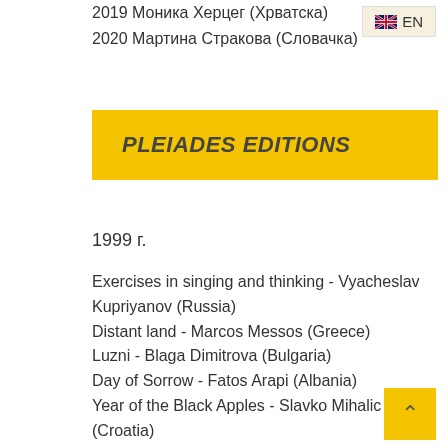2019 Моника Херцег (Хрватска)
2020 Мартина Стракова (Словачка)
PLEIADES EDITIONS
1999 г.
Exercises in singing and thinking - Vyacheslav Kupriyanov (Russia)
Distant land - Marcos Messos (Greece)
Luzni - Blaga Dimitrova (Bulgaria)
Day of Sorrow - Fatos Arapi (Albania)
Year of the Black Apples - Slavko Mihalic (Croatia)
Morning Travel - Kenneth White (UK)
Journeys through the Wandering Dawn - Kenneth White (UK)